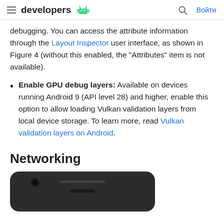developers [android logo] | [search] Войти
debugging. You can access the attribute information through the Layout Inspector user interface, as shown in Figure 4 (without this enabled, the "Attributes" item is not available).
Enable GPU debug layers: Available on devices running Android 9 (API level 28) and higher, enable this option to allow loading Vulkan validation layers from local device storage. To learn more, read Vulkan validation layers on Android.
Networking
[Figure (photo): Top portion of a dark Android phone device, showing the front-facing camera and speaker grille area, with rounded top corners.]